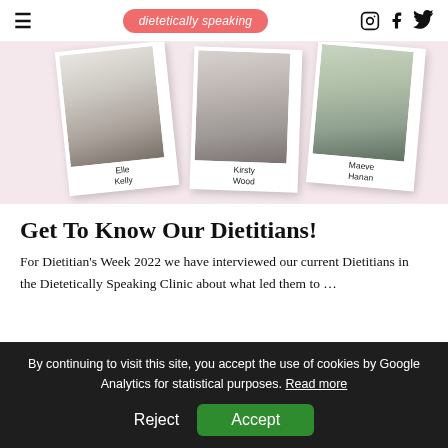dietetically speaking — navigation header with hamburger menu, logo, and social icons (Instagram, Facebook, Twitter)
[Figure (photo): Three polaroid-style photos of dietitians: Elle Kelly, Kirsty Wood, and Maeve Hanan, arranged on a pink background]
Get To Know Our Dietitians!
For Dietitian's Week 2022 we have interviewed our current Dietitians in the Dietetically Speaking Clinic about what led them to …
By continuing to visit this site, you accept the use of cookies by Google Analytics for statistical purposes. Read more